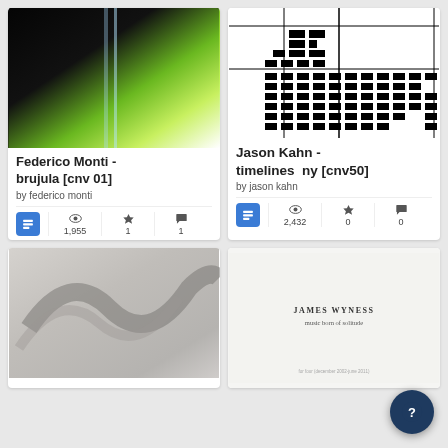[Figure (photo): Abstract photo with black and green gradient, light beam effect - Federico Monti brujula album art]
Federico Monti - brujula [cnv 01]
by federico monti
1,955 views, 1 favourite, 1 comment
[Figure (other): Jason Kahn timelines score/chart with black rectangular blocks arranged in a grid pattern on white background]
Jason Kahn - timelines  ny [cnv50]
by jason kahn
2,432 views, 0 favourites, 0 comments
[Figure (photo): Abstract close-up photo with grey tones, curved shape]
[Figure (photo): James Wyness music born of solitude album cover - white/light grey minimalist design with text]